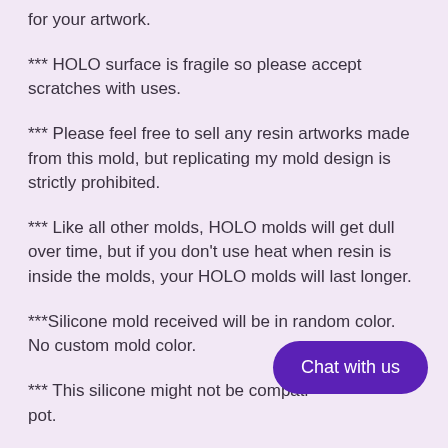for your artwork.
*** HOLO surface is fragile so please accept scratches with uses.
*** Please feel free to sell any resin artworks made from this mold, but replicating my mold design is strictly prohibited.
*** Like all other molds, HOLO molds will get dull over time, but if you don't use heat when resin is inside the molds, your HOLO molds will last longer.
***Silicone mold received will be in random color. No custom mold color.
*** This silicone might not be compati pot.